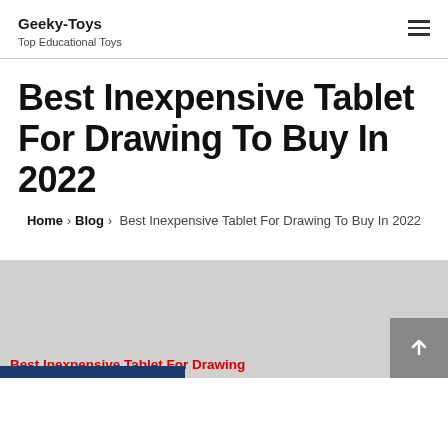Geeky-Toys
Top Educational Toys
Best Inexpensive Tablet For Drawing To Buy In 2022
Home › Blog › Best Inexpensive Tablet For Drawing To Buy In 2022
[Figure (photo): Image showing best inexpensive tablet for drawing with red caption text at bottom reading 'Best Inexpensive Tablet For Drawing']